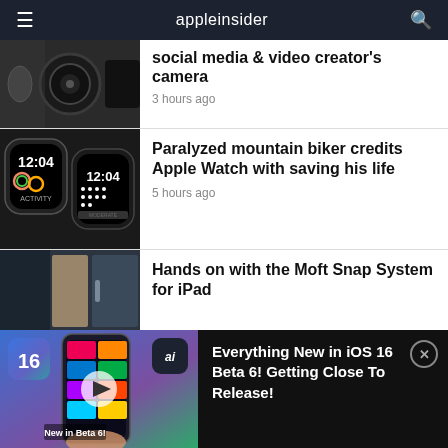appleinsider
[Figure (photo): Close-up photo of a camera lens (black DSLR/mirrorless camera)]
social media & video creator's camera
3 hours ago
[Figure (photo): Two Apple Watches showing 12:04 on their displays]
Paralyzed mountain biker credits Apple Watch with saving his life
5 hours ago
[Figure (photo): Dark blue/grey iPad cases or covers]
Hands on with the Moft Snap System for iPad
[Figure (screenshot): iOS 16 video thumbnail showing iPhone with iOS 16 interface, Beta 6 label]
Everything New in iOS 16 Beta 6! Getting Close To Release!